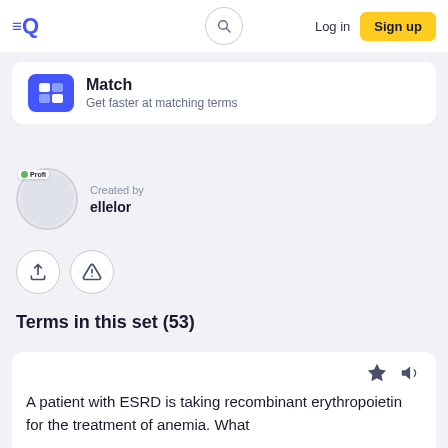≡Q  [search]  Log in  Sign up
Match
Get faster at matching terms
Created by
ellelor
Terms in this set (53)
A patient with ESRD is taking recombinant erythropoietin for the treatment of anemia. What